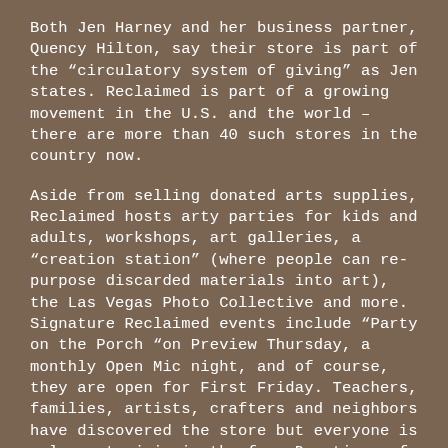Both Jen Harney and her business partner, Quency Hilton, say their store is part of the “circulatory system of giving” as Jen states. Reclaimed is part of a growing movement in the U.S. and the world – there are more than 40 such stores in the country now.
Aside from selling donated arts supplies, Reclaimed hosts arty parties for kids and adults, workshops, art galleries, a “creation station” (where people can re-purpose discarded materials into art), the Las Vegas Photo Collective and more. Signature Reclaimed events include “Party on the Porch “on Preview Thursday, a monthly Open Mic night, and of course, they are open for First Friday. Teachers, families, artists, crafters and neighbors have discovered the store but everyone is welcome to join in the fun. Donations of clean, safe, gently used art supplies are accepted only during business hours.
No clothing please, but Reclaimed does host a clothing swap once a month.